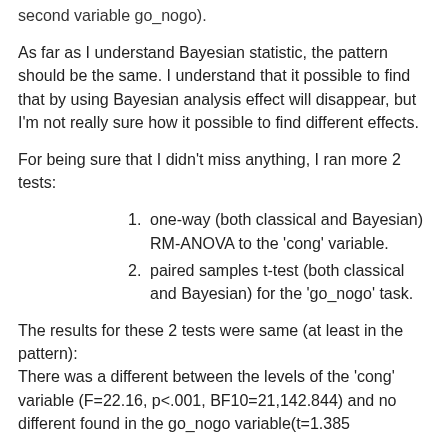second variable go_nogo).
As far as I understand Bayesian statistic, the pattern should be the same. I understand that it possible to find that by using Bayesian analysis effect will disappear, but I'm not really sure how it possible to find different effects.
For being sure that I didn't miss anything, I ran more 2 tests:
one-way (both classical and Bayesian) RM-ANOVA to the 'cong' variable.
paired samples t-test (both classical and Bayesian) for the 'go_nogo' task.
The results for these 2 tests were same (at least in the pattern): There was a different between the levels of the 'cong' variable (F=22.16, p<.001, BF10=21,142.844) and no different found in the go_nogo variable(t=1.385